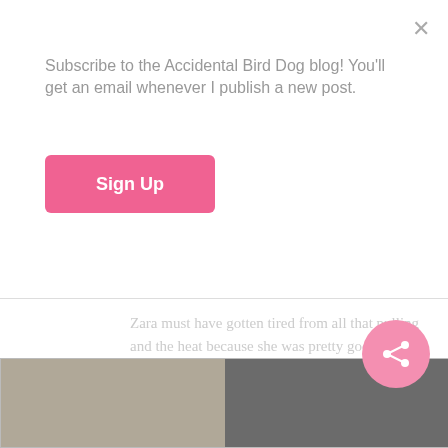Subscribe to the Accidental Bird Dog blog! You'll get an email whenever I publish a new post.
Sign Up
Zara must have gotten tired from all that pulling and the heat because she was pretty good throughout the dinner. Other times we've had dinner and haven't been able to enjoy it because she has been super antsy and yelping much of the time.
[Figure (photo): Two side-by-side photos at the bottom of the page, partially visible. Left photo appears to show a light-colored dog or animal, right photo shows a darker indoor or door scene.]